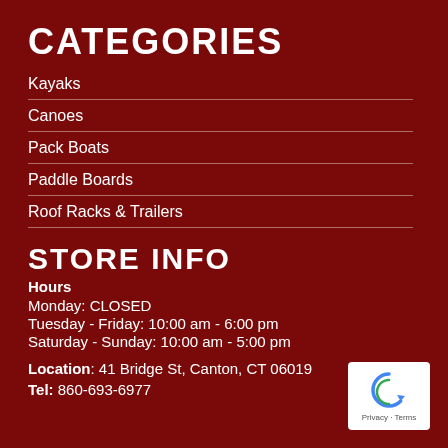CATEGORIES
Kayaks
Canoes
Pack Boats
Paddle Boards
Roof Racks & Trailers
STORE INFO
Hours
Monday: CLOSED
Tuesday - Friday: 10:00 am - 6:00 pm
Saturday - Sunday: 10:00 am - 5:00 pm
Location: 41 Bridge St, Canton, CT 06019
Tel: 860-693-6977
[Figure (logo): Google reCAPTCHA badge with Privacy and Terms links]